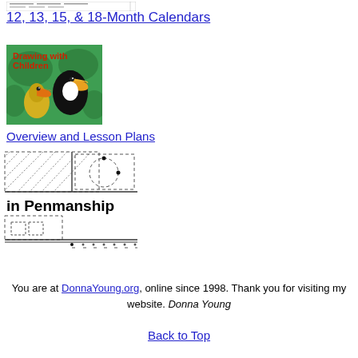[Figure (other): Small thumbnail image of a calendar page with dashed/dotted pattern]
12, 13, 15, & 18-Month Calendars
[Figure (illustration): Book cover for 'Drawing with Children' showing two toucans on a green background]
Overview and Lesson Plans
[Figure (other): Penmanship worksheet image showing lined paper with handwriting practice marks and the text 'in Penmanship']
You are at DonnaYoung.org, online since 1998. Thank you for visiting my website. Donna Young
Back to Top